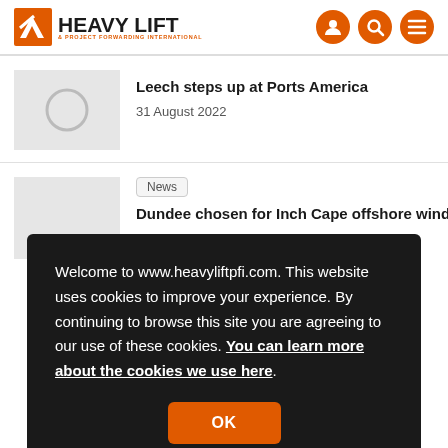HEAVY LIFT & PROJECT FORWARDING INTERNATIONAL
Leech steps up at Ports America
31 August 2022
News
Dundee chosen for Inch Cape offshore wind
Welcome to www.heavyliftpfi.com. This website uses cookies to improve your experience. By continuing to browse this site you are agreeing to our use of these cookies. You can learn more about the cookies we use here.